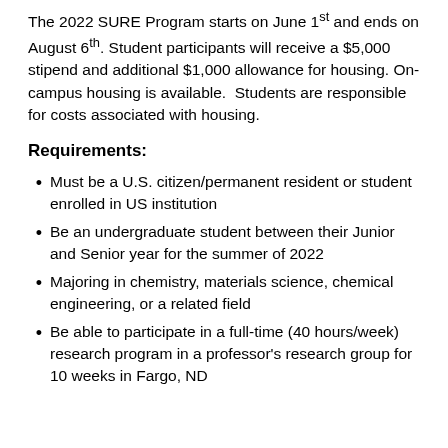The 2022 SURE Program starts on June 1st and ends on August 6th. Student participants will receive a $5,000 stipend and additional $1,000 allowance for housing. On-campus housing is available.  Students are responsible for costs associated with housing.
Requirements:
Must be a U.S. citizen/permanent resident or student enrolled in US institution
Be an undergraduate student between their Junior and Senior year for the summer of 2022
Majoring in chemistry, materials science, chemical engineering, or a related field
Be able to participate in a full-time (40 hours/week) research program in a professor's research group for 10 weeks in Fargo, ND